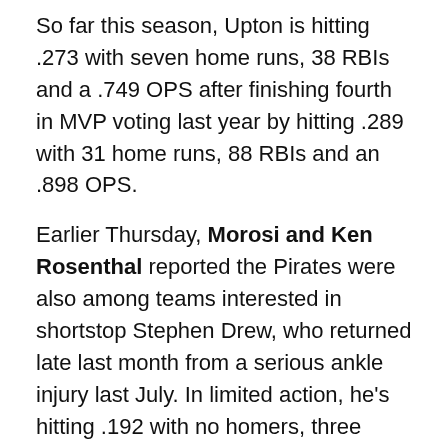So far this season, Upton is hitting .273 with seven home runs, 38 RBIs and a .749 OPS after finishing fourth in MVP voting last year by hitting .289 with 31 home runs, 88 RBIs and an .898 OPS.
Earlier Thursday, Morosi and Ken Rosenthal reported the Pirates were also among teams interested in shortstop Stephen Drew, who returned late last month from a serious ankle injury last July. In limited action, he's hitting .192 with no homers, three RBIs and a .496 OPS. Before his injury last season, he was hitting .252 with five home runs, 45 RBIs and a .713 OPS in 86 games.
With so much smoke surrounding these two teams, we here at SB Nation Pittsburgh thought it would be a good idea to bring Jim McLennan from AZ Snake Pit,